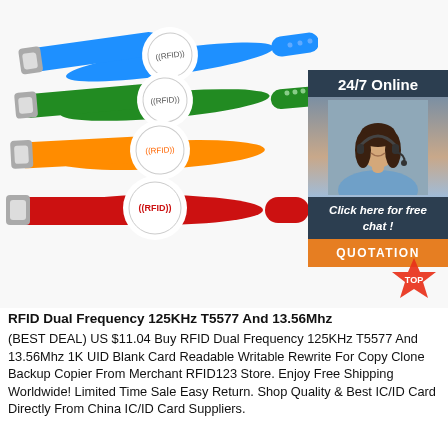[Figure (photo): Four RFID silicone wristbands in blue, green, orange, and red colors, each with a circular RFID chip panel labeled ((RFID)), arranged in a fan-like spread. A customer service representative with headset is shown alongside a '24/7 Online' chat widget with 'Click here for free chat!' and 'QUOTATION' button.]
RFID Dual Frequency 125KHz T5577 And 13.56Mhz
(BEST DEAL) US $11.04 Buy RFID Dual Frequency 125KHz T5577 And 13.56Mhz 1K UID Blank Card Readable Writable Rewrite For Copy Clone Backup Copier From Merchant RFID123 Store. Enjoy Free Shipping Worldwide! Limited Time Sale Easy Return. Shop Quality & Best IC/ID Card Directly From China IC/ID Card Suppliers.